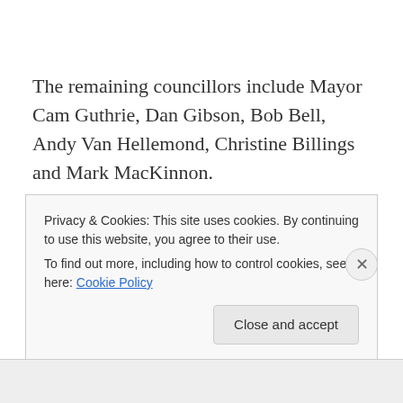The remaining councillors include Mayor Cam Guthrie, Dan Gibson, Bob Bell, Andy Van Hellemond, Christine Billings and Mark MacKinnon.
Leanne Piper posted a message June 3, 2014 with the heading, “Mayor Karen Farbridge Recognized for Leadership.”
Piper went on to say that “we don’t recognize how well
Privacy & Cookies: This site uses cookies. By continuing to use this website, you agree to their use.
To find out more, including how to control cookies, see here: Cookie Policy